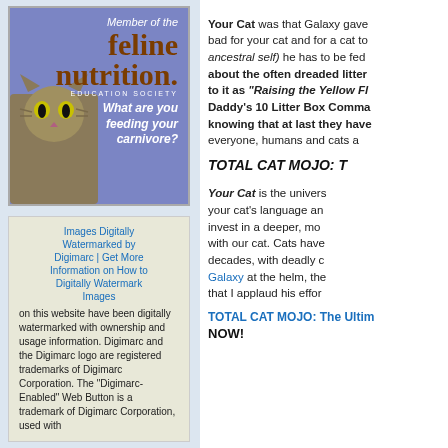[Figure (illustration): Feline Nutrition Education Society banner/ad with purple background, cat photo, text 'Member of the feline nutrition. EDUCATION SOCIETY. What are you feeding your carnivore?']
Images Digitally Watermarked by Digimarc | Get More Information on How to Digitally Watermark Images on this website have been digitally watermarked with ownership and usage information. Digimarc and the Digimarc logo are registered trademarks of Digimarc Corporation. The "Digimarc-Enabled" Web Button is a trademark of Digimarc Corporation, used with
Your Cat was that Galaxy gave bad for your cat and for a cat to ancestral self) he has to be fed about the often dreaded litter to it as “Raising the Yellow Fl Daddy’s 10 Litter Box Comma knowing that at last they have everyone, humans and cats a
TOTAL CAT MOJO: T
Your Cat is the univer your cat’s language an invest in a deeper, mo with our cat. Cats have decades, with deadly c Galaxy at the helm, the that I applaud his effor
TOTAL CAT MOJO: The Ultim NOW!